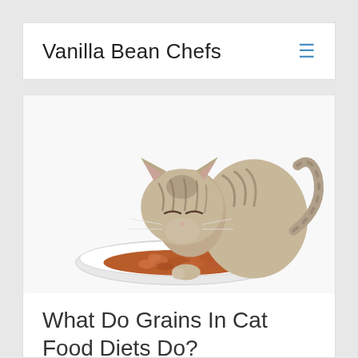Vanilla Bean Chefs
[Figure (photo): A tabby kitten eating wet cat food from a white plate, on a white background]
What Do Grains In Cat Food Diets Do?